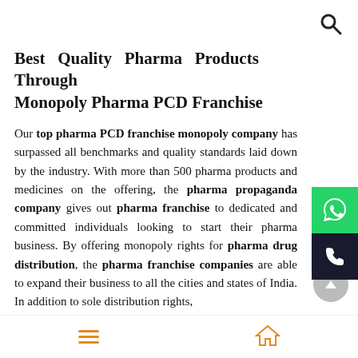Best Quality Pharma Products Through Monopoly Pharma PCD Franchise
Our top pharma PCD franchise monopoly company has surpassed all benchmarks and quality standards laid down by the industry. With more than 500 pharma products and medicines on the offering, the pharma propaganda company gives out pharma franchise to dedicated and committed individuals looking to start their pharma business. By offering monopoly rights for pharma drug distribution, the pharma franchise companies are able to expand their business to all the cities and states of India. In addition to sole distribution rights,